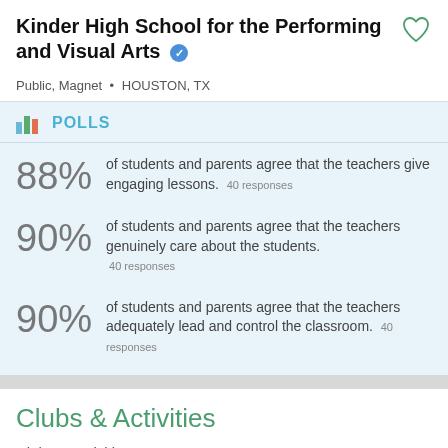Kinder High School for the Performing and Visual Arts
Public, Magnet • HOUSTON, TX
POLLS
88% of students and parents agree that the teachers give engaging lessons. 40 responses
90% of students and parents agree that the teachers genuinely care about the students. 40 responses
90% of students and parents agree that the teachers adequately lead and control the classroom. 40 responses
Clubs & Activities
Clubs & Activities